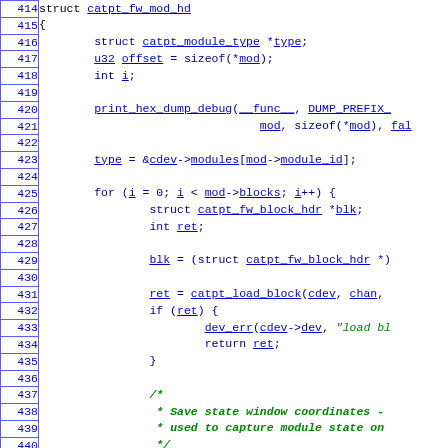[Figure (screenshot): Source code listing in C showing lines 414–443 of a kernel/driver file. Line numbers are shown in blue on the left with borders. Code includes struct definitions, for loop, function calls like catpt_load_block, print_hex_dump_debug, dev_err, and a comment about saving state window coordinates.]